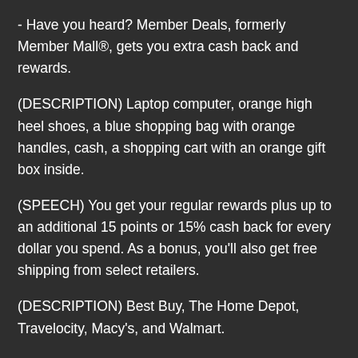- Have you heard? Member Deals, formerly Member Mall®, gets you extra cash back and rewards.
(DESCRIPTION) Laptop computer, orange high heel shoes, a blue shopping bag with orange handles, cash, a shopping cart with an orange gift box inside.
(SPEECH) You get your regular rewards plus up to an additional 15 points or 15% cash back for every dollar you spend. As a bonus, you'll also get free shipping from select retailers.
(DESCRIPTION) Best Buy, The Home Depot, Travelocity, Macy's, and Walmart.
(SPEECH) Shop online in over 950 of your favorite stores. Sign up for weekly deal alerts and get access to the deal of